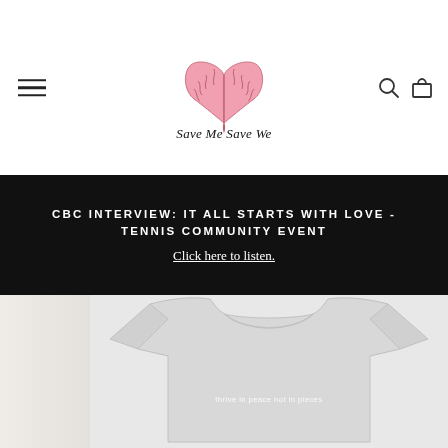[Figure (logo): Save Me Save We logo: pink brain in heart shape above italic text 'Save Me Save We']
CBC INTERVIEW: IT ALL STARTS WITH LOVE - TENNIS COMMUNITY EVENT
Click here to listen.
[Figure (photo): White/light grey t-shirt with small white text reading 'thrive in peace not in pieces', partially cropped, on a light grey background with a blurred floral image on the left side]